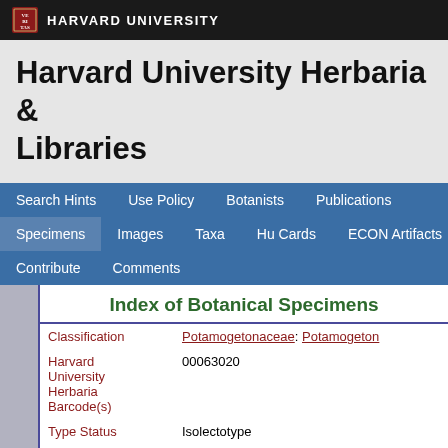HARVARD UNIVERSITY
Harvard University Herbaria & Libraries
Search Hints | Use Policy | Botanists | Publications | Specimens | Images | Taxa | Hu Cards | ECON Artifacts | Contribute | Comments
Index of Botanical Specimens
| Field | Value |
| --- | --- |
| Classification | Potamogetonaceae: Potamogeton |
| Harvard University Herbaria Barcode(s) | 00063020 |
| Type Status | Isolectotype |
| Collector | E. Tuckerman |
| Country | United States of America |
| Geography | North America: North America (CA, US, MX) (Region): United States of America |